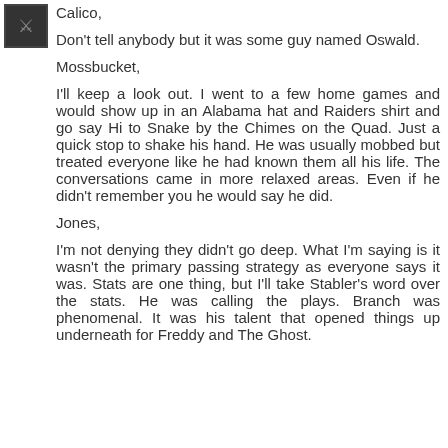[Figure (photo): Small avatar/profile image, dark colored, appears to be a Raiders logo or similar]
Calico,
Don't tell anybody but it was some guy named Oswald.
Mossbucket,
I'll keep a look out. I went to a few home games and would show up in an Alabama hat and Raiders shirt and go say Hi to Snake by the Chimes on the Quad. Just a quick stop to shake his hand. He was usually mobbed but treated everyone like he had known them all his life. The conversations came in more relaxed areas. Even if he didn't remember you he would say he did.
Jones,
I'm not denying they didn't go deep. What I'm saying is it wasn't the primary passing strategy as everyone says it was. Stats are one thing, but I'll take Stabler's word over the stats. He was calling the plays. Branch was phenomenal. It was his talent that opened things up underneath for Freddy and The Ghost.